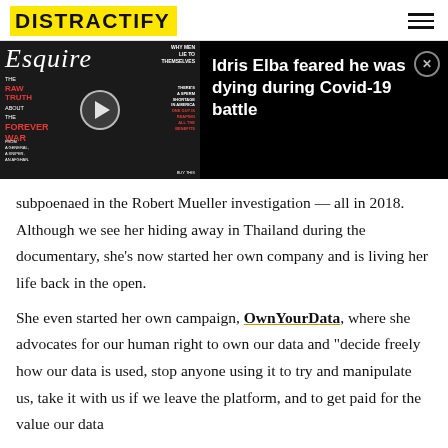DISTRACTIFY
[Figure (screenshot): Esquire magazine cover video thumbnail showing a man's face with 'Esquire' title and headlines about 'Why Men Lie to Themselves' and 'The Raw Truth About the Forever War', with a play button overlay. Adjacent black panel shows text: 'Idris Elba feared he was dying during Covid-19 battle' with a close (X) button.]
subpoenaed in the Robert Mueller investigation — all in 2018. Although we see her hiding away in Thailand during the documentary, she's now started her own company and is living her life back in the open.
She even started her own campaign, OwnYourData, where she advocates for our human right to own our data and "decide freely how our data is used, stop anyone using it to try and manipulate us, take it with us if we leave the platform, and to get paid for the value our data